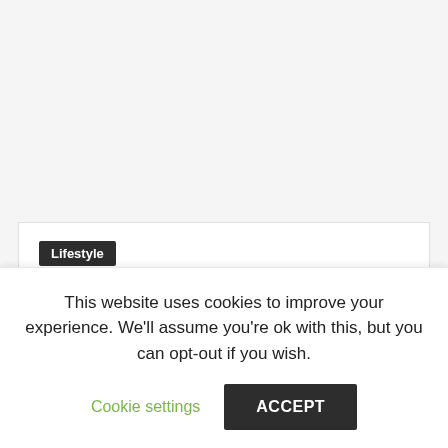Lifestyle
Apple accused of union busting at World Trade Center store
This website uses cookies to improve your experience. We'll assume you're ok with this, but you can opt-out if you wish.
Cookie settings
ACCEPT